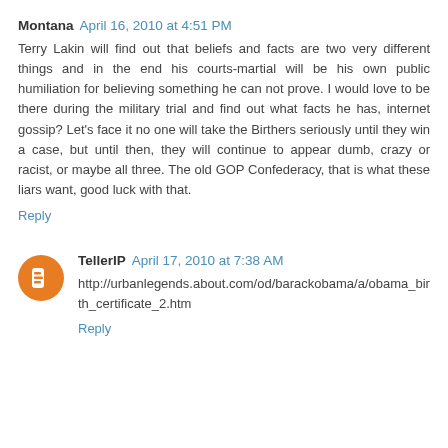Montana April 16, 2010 at 4:51 PM
Terry Lakin will find out that beliefs and facts are two very different things and in the end his courts-martial will be his own public humiliation for believing something he can not prove. I would love to be there during the military trial and find out what facts he has, internet gossip? Let's face it no one will take the Birthers seriously until they win a case, but until then, they will continue to appear dumb, crazy or racist, or maybe all three. The old GOP Confederacy, that is what these liars want, good luck with that.
Reply
TellerIP April 17, 2010 at 7:38 AM
http://urbanlegends.about.com/od/barackobama/a/obama_birth_certificate_2.htm
Reply